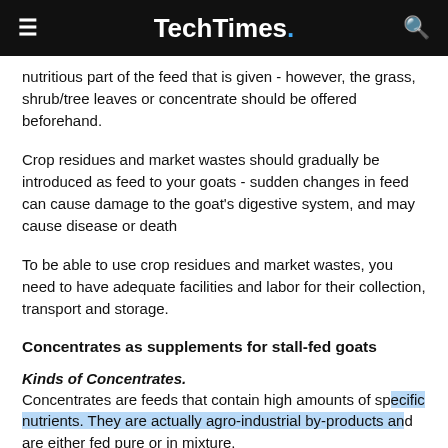TechTimes.
nutritious part of the feed that is given - however, the grass, shrub/tree leaves or concentrate should be offered beforehand.
Crop residues and market wastes should gradually be introduced as feed to your goats - sudden changes in feed can cause damage to the goat's digestive system, and may cause disease or death
To be able to use crop residues and market wastes, you need to have adequate facilities and labor for their collection, transport and storage.
Concentrates as supplements for stall-fed goats
Kinds of Concentrates.
Concentrates are feeds that contain high amounts of specific nutrients. They are actually agro-industrial by-products and are either fed pure or in mixture.